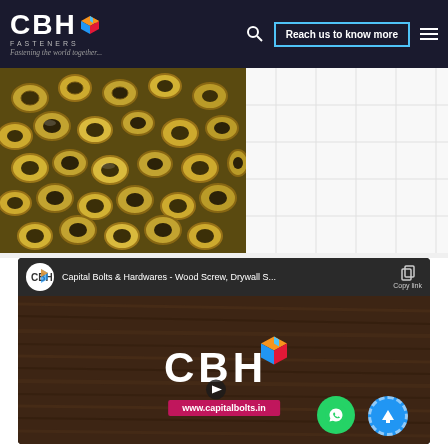[Figure (screenshot): CBH Fasteners website header with logo, search icon, 'Reach us to know more' button, and hamburger menu on dark background]
[Figure (photo): Close-up photograph of many brass eyelet/grommet fasteners piled together]
[Figure (screenshot): YouTube video panel for Capital Bolts & Hardwares showing CBH logo on wood background with www.capitalbolts.in banner, Watch on YouTube bar, WhatsApp and scroll-up buttons]